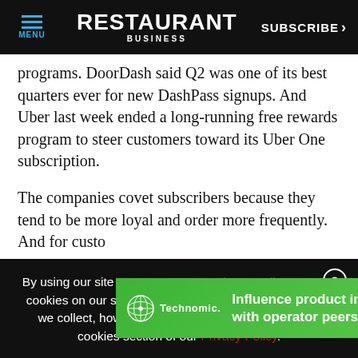MENU | RESTAURANT BUSINESS | SUBSCRIBE >
programs. DoorDash said Q2 was one of its best quarters ever for new DashPass signups. And Uber last week ended a long-running free rewards program to steer customers toward its Uber One subscription.
The companies covet subscribers because they tend to be more loyal and order more frequently. And for customers, they can reduce the cost of food delivery.
[Figure (infographic): Green advertisement banner for Technomic: 'Influence product innovation with operator peers >>' with Technomic logo on left and X close button top-right]
By using our site you agree to our Privacy Policy. We use cookies on our site. To learn more about the information we collect, how we use it and your choices, visit the cookies section of our Privacy Policy.